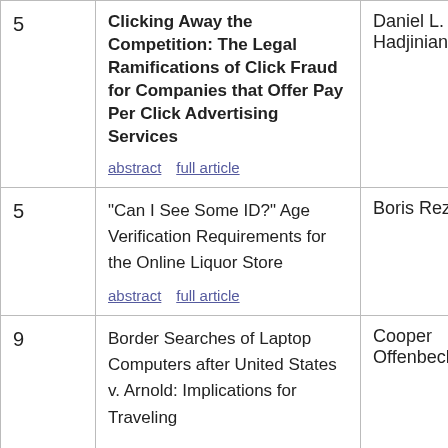| # | Article | Author |
| --- | --- | --- |
| 5 | Clicking Away the Competition: The Legal Ramifications of Click Fraud for Companies that Offer Pay Per Click Advertising Services
abstract  full article | Daniel L. Hadjinian |
| 5 | "Can I See Some ID?" Age Verification Requirements for the Online Liquor Store
abstract  full article | Boris Reznikov |
| 9 | Border Searches of Laptop Computers after United States v. Arnold: Implications for Traveling | Cooper Offenbecher |